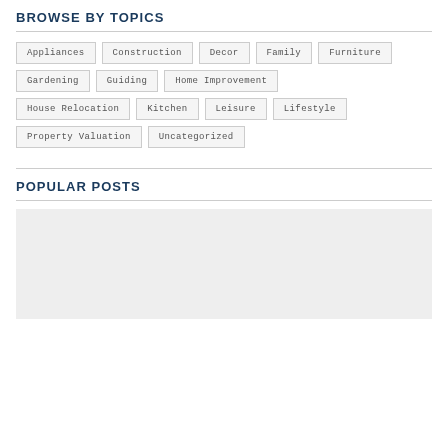BROWSE BY TOPICS
Appliances
Construction
Decor
Family
Furniture
Gardening
Guiding
Home Improvement
House Relocation
Kitchen
Leisure
Lifestyle
Property Valuation
Uncategorized
POPULAR POSTS
[Figure (photo): Gray placeholder image for a popular post]